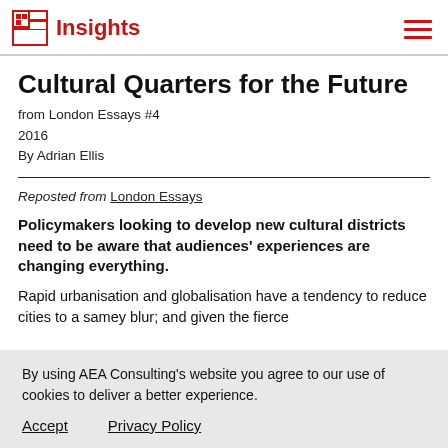Insights
Cultural Quarters for the Future
from London Essays #4
2016
By Adrian Ellis
Reposted from London Essays
Policymakers looking to develop new cultural districts need to be aware that audiences' experiences are changing everything.
Rapid urbanisation and globalisation have a tendency to reduce cities to a samey blur; and given the fierce
By using AEA Consulting's website you agree to our use of cookies to deliver a better experience.

Accept    Privacy Policy